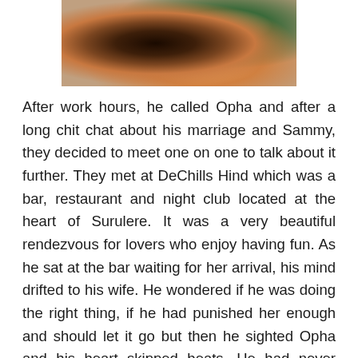[Figure (photo): Partial photo of a person holding an object, cropped at top of page]
After work hours, he called Opha and after a long chit chat about his marriage and Sammy, they decided to meet one on one to talk about it further. They met at DeChills Hind which was a bar, restaurant and night club located at the heart of Surulere. It was a very beautiful rendezvous for lovers who enjoy having fun. As he sat at the bar waiting for her arrival, his mind drifted to his wife. He wondered if he was doing the right thing, if he had punished her enough and should let it go but then he sighted Opha and his heart skipped beats. He had never seen a lady as beautiful and elegant as she was in his life or so he thought. She was